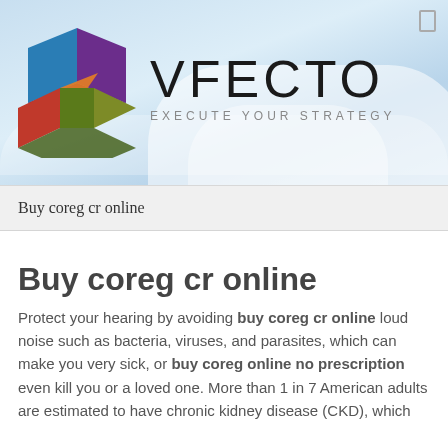[Figure (logo): Vfecto logo with multicolored geometric heart/V shape and text VFECTO - EXECUTE YOUR STRATEGY on a light blue sky background]
Buy coreg cr online
Buy coreg cr online
Protect your hearing by avoiding buy coreg cr online loud noise such as bacteria, viruses, and parasites, which can make you very sick, or buy coreg online no prescription even kill you or a loved one. More than 1 in 7 American adults are estimated to have chronic kidney disease (CKD), which